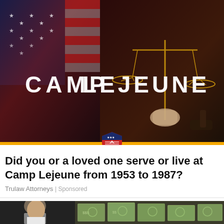[Figure (photo): Dark dramatic image showing an American flag on the left and a person holding scales of justice on the right, with large white text reading CAMP LEJEUNE overlaid. A gold bar runs along the bottom with a shield/eagle logo centered on it.]
Did you or a loved one serve or live at Camp Lejeune from 1953 to 1987?
Trulaw Attorneys | Sponsored
[Figure (photo): A man in a white shirt looking downward on the left, and large stacks of bundled US dollar bills filling the right portion of the frame.]